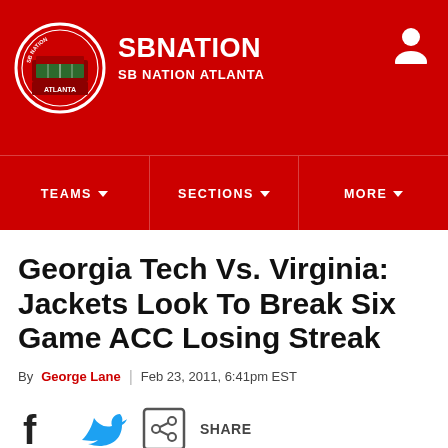SBNATION / SB NATION ATLANTA
[Figure (logo): SB Nation Atlanta circular logo with football stadium illustration]
Georgia Tech Vs. Virginia: Jackets Look To Break Six Game ACC Losing Streak
By George Lane | Feb 23, 2011, 6:41pm EST
[Figure (infographic): Social share buttons: Facebook, Twitter, and Share icons]